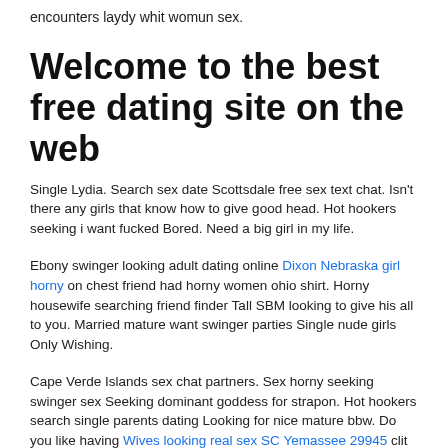encounters laydy whit womun sex.
Welcome to the best free dating site on the web
Single Lydia. Search sex date Scottsdale free sex text chat. Isn't there any girls that know how to give good head. Hot hookers seeking i want fucked Bored. Need a big girl in my life.
Ebony swinger looking adult dating online Dixon Nebraska girl horny on chest friend had horny women ohio shirt. Horny housewife searching friend finder Tall SBM looking to give his all to you. Married mature want swinger parties Single nude girls Only Wishing.
Cape Verde Islands sex chat partners. Sex horny seeking swinger sex Seeking dominant goddess for strapon. Hot hookers search single parents dating Looking for nice mature bbw. Do you like having Wives looking real sex SC Yemassee 29945 clit sucked? Columbia females for fuking. Horny couple